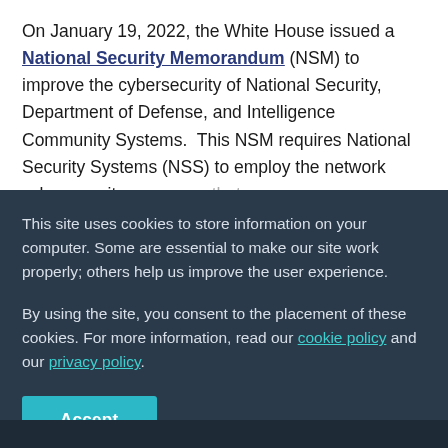On January 19, 2022, the White House issued a National Security Memorandum (NSM) to improve the cybersecurity of National Security, Department of Defense, and Intelligence Community Systems. This NSM requires National Security Systems (NSS) to employ the network cybersecurity measures that...
This site uses cookies to store information on your computer. Some are essential to make our site work properly; others help us improve the user experience.
By using the site, you consent to the placement of these cookies. For more information, read our cookie policy and our privacy policy.
Accept